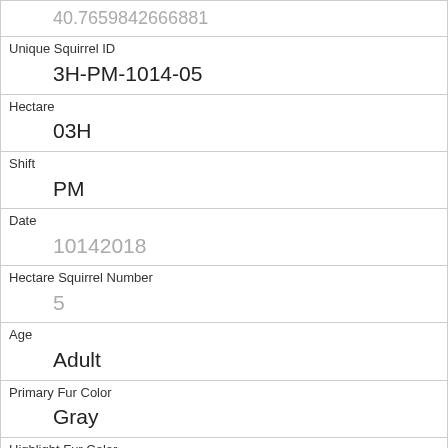| 40.7659842666881 |
| Unique Squirrel ID | 3H-PM-1014-05 |
| Hectare | 03H |
| Shift | PM |
| Date | 10142018 |
| Hectare Squirrel Number | 5 |
| Age | Adult |
| Primary Fur Color | Gray |
| Highlight Fur Color | White |
| Combination of Primary and Highlight Color | Gray+White |
| Color notes |  |